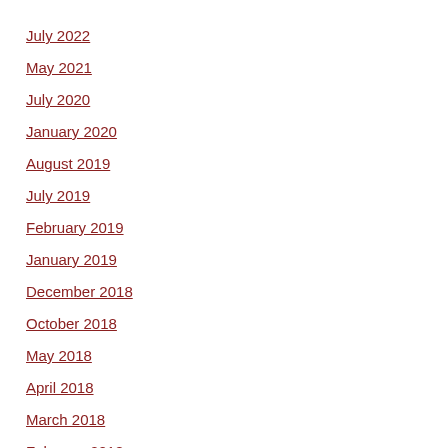July 2022
May 2021
July 2020
January 2020
August 2019
July 2019
February 2019
January 2019
December 2018
October 2018
May 2018
April 2018
March 2018
February 2018
June 2017
April 2017
March 2017
February 2017